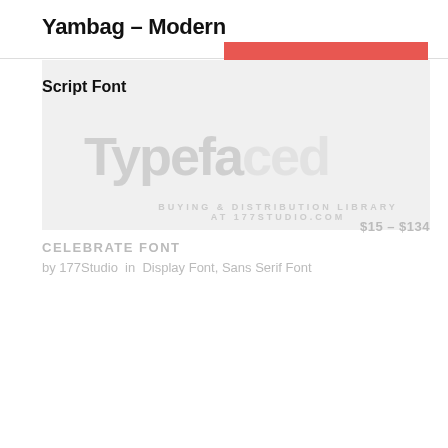Yambag – Modern
BUYING OPTIONS
Script Font
[Figure (other): Large watermark text showing partial word 'typefac...' in light gray over a gray background banner, with secondary text 'BUYING & DISTRIBUTION LIBRARY AT 177STUDIO.COM']
CELEBRATE FONT   $15 – $134
by 177Studio  in  Display Font, Sans Serif Font